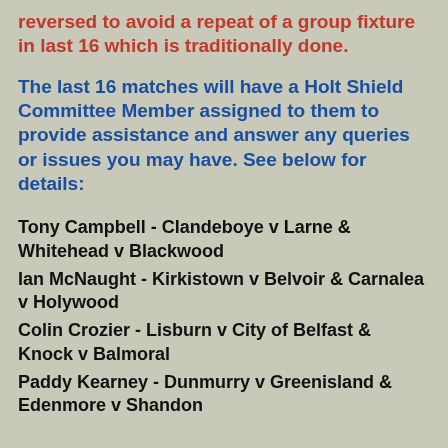reversed to avoid a repeat of a group fixture in last 16 which is traditionally done.
The last 16 matches will have a Holt Shield Committee Member assigned to them to provide assistance and answer any queries or issues you may have. See below for details:
Tony Campbell - Clandeboye v Larne & Whitehead v Blackwood
Ian McNaught - Kirkistown v Belvoir & Carnalea v Holywood
Colin Crozier - Lisburn v City of Belfast & Knock v Balmoral
Paddy Kearney - Dunmurry v Greenisland & Edenmore v Shandon